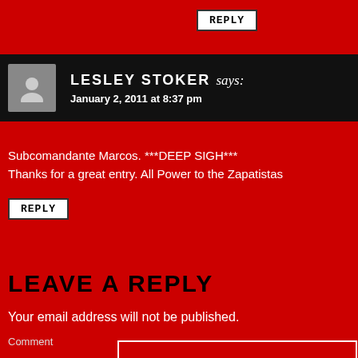REPLY
LESLEY STOKER says: January 2, 2011 at 8:37 pm
Subcomandante Marcos. ***DEEP SIGH*** Thanks for a great entry. All Power to the Zapatistas
REPLY
LEAVE A REPLY
Your email address will not be published.
Comment